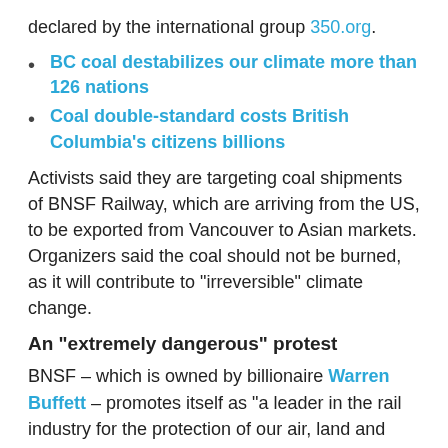declared by the international group 350.org.
BC coal destabilizes our climate more than 126 nations
Coal double-standard costs British Columbia's citizens billions
Activists said they are targeting coal shipments of BNSF Railway, which are arriving from the US, to be exported from Vancouver to Asian markets. Organizers said the coal should not be burned, as it will contribute to “irrreversible” climate change.
An "extremely dangerous" protest
BNSF – which is owned by billionaire Warren Buffett – promotes itself as “a leader in the rail industry for the protection of our air, land and water,” according to the company’s website.